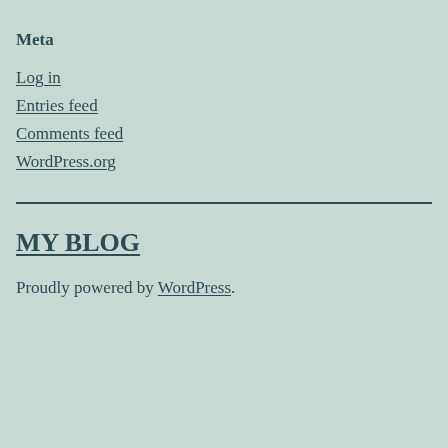Meta
Log in
Entries feed
Comments feed
WordPress.org
MY BLOG
Proudly powered by WordPress.